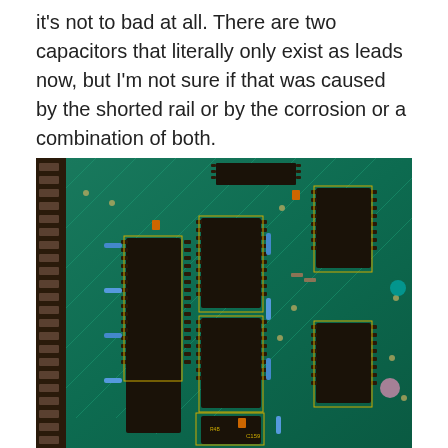it's not to bad at all. There are two capacitors that literally only exist as leads now, but I'm not sure if that was caused by the shorted rail or by the corrosion or a combination of both.
[Figure (photo): Close-up photograph of a vintage green circuit board (PCB) showing integrated circuit sockets, blue capacitors/resistors, yellow-outlined component markings, edge connector fingers along the left side, and various electronic components including chips and capacitors mounted on the board.]